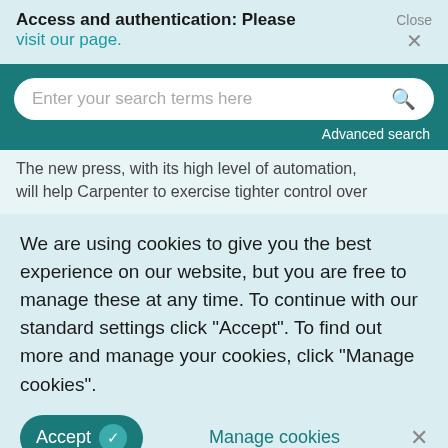Access and authentication: Please visit our page.
[Figure (screenshot): Search bar with placeholder text 'Enter your search terms here' and a magnifying glass icon, on a dark teal background with 'Advanced search' link]
The new press, with its high level of automation, will help Carpenter to exercise tighter control over
We are using cookies to give you the best experience on our website, but you are free to manage these at any time. To continue with our standard settings click "Accept". To find out more and manage your cookies, click "Manage cookies".
Accept  Manage cookies  ×
improving the quality of its entire forged product line.